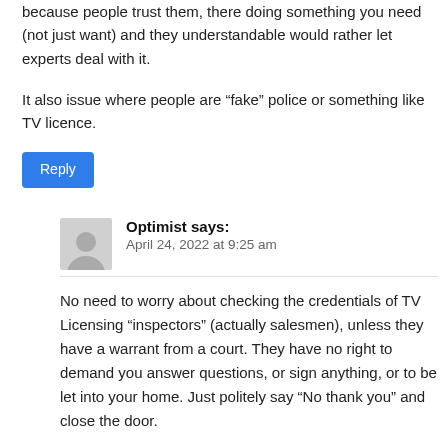because people trust them, there doing something you need (not just want) and they understandable would rather let experts deal with it.
It also issue where people are “fake” police or something like TV licence.
Reply
Optimist says:
April 24, 2022 at 9:25 am
No need to worry about checking the credentials of TV Licensing “inspectors” (actually salesmen), unless they have a warrant from a court. They have no right to demand you answer questions, or sign anything, or to be let into your home. Just politely say “No thank you” and close the door.